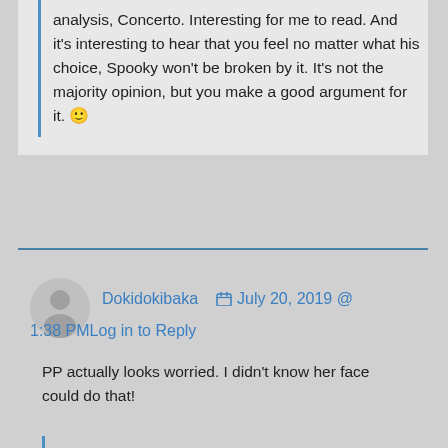analysis, Concerto. Interesting for me to read. And it's interesting to hear that you feel no matter what his choice, Spooky won't be broken by it. It's not the majority opinion, but you make a good argument for it. 🙂
Dokidokibaka  July 20, 2019 @ 1:38 PM  Log in to Reply
PP actually looks worried. I didn't know her face could do that!